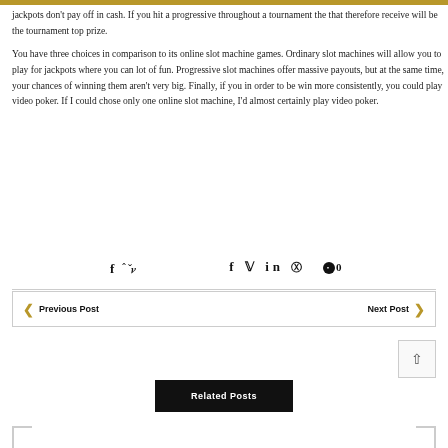jackpots don't pay off in cash. If you hit a progressive throughout a tournament the that therefore receive will be the tournament top prize.
You have three choices in comparison to its online slot machine games. Ordinary slot machines will allow you to play for jackpots where you can lot of fun. Progressive slot machines offer massive payouts, but at the same time, your chances of winning them aren't very big. Finally, if you in order to be win more consistently, you could play video poker. If I could chose only one online slot machine, I'd almost certainly play video poker.
[Figure (infographic): Social sharing icons: Facebook (f), Twitter, LinkedIn (in), Pinterest (p), comment bubble with 0]
Previous Post  |  Next Post
Related Posts